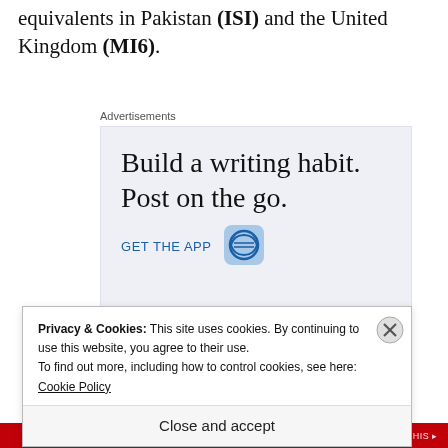equivalents in Pakistan (ISI) and the United Kingdom (MI6).
Advertisements
[Figure (infographic): Advertisement banner with text 'Build a writing habit. Post on the go.' and a 'GET THE APP' call-to-action with WordPress logo icon, on a light blue-grey background.]
Privacy & Cookies: This site uses cookies. By continuing to use this website, you agree to their use.
To find out more, including how to control cookies, see here: Cookie Policy
Close and accept